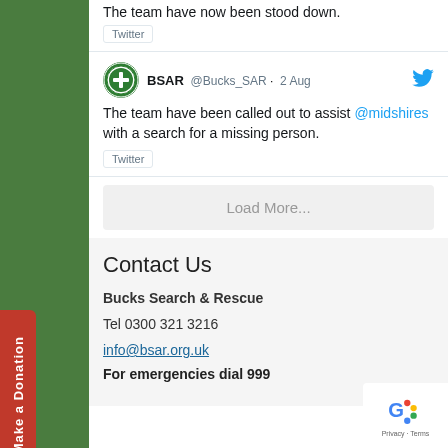The team have now been stood down.
Twitter
BSAR @Bucks_SAR · 2 Aug
The team have been called out to assist @midshires with a search for a missing person.
Twitter
Load More...
Contact Us
Bucks Search & Rescue
Tel 0300 321 3216
info@bsar.org.uk
For emergencies dial 999